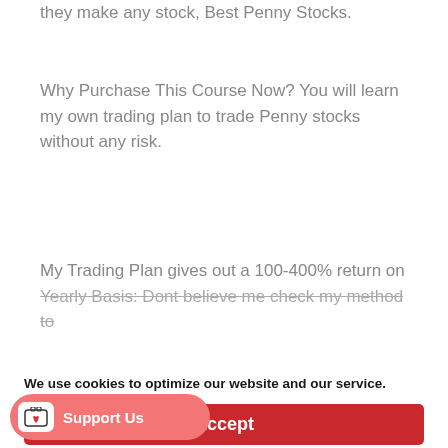This course explains how to Buy Penny Stocks as they make any stock, Best Penny Stocks.
Why Purchase This Course Now? You will learn my own trading plan to trade Penny stocks without any risk.
My Trading Plan gives out a 100-400% return on Yearly Basis: Dont believe me check my method to
We use cookies to optimize our website and our service.
Accept
Dismiss
...references
Support Us